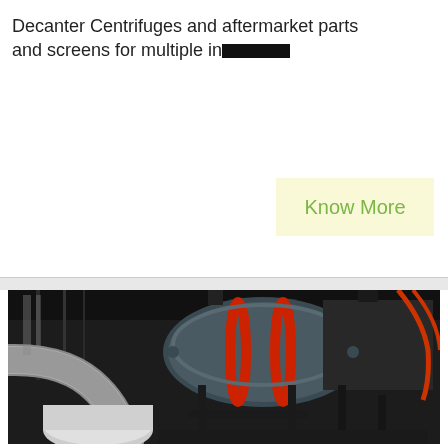Decanter Centrifuges and aftermarket parts and screens for multiple industries
[Figure (other): Button/link element with light yellow background reading 'Know More' in green text]
[Figure (photo): Industrial decanter centrifuge equipment photographed in a facility, showing large rotating drum machinery with grey pipes, red accent rings, and dark metal framework]